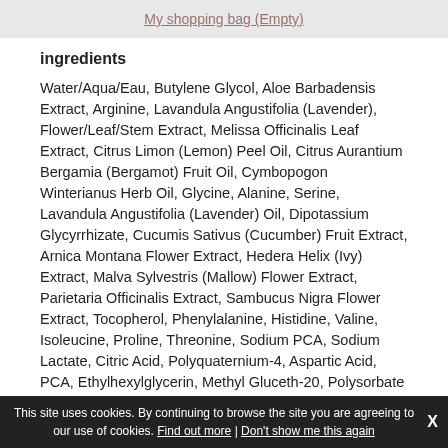My shopping bag (Empty)
ingredients
Water/Aqua/Eau, Butylene Glycol, Aloe Barbadensis Extract, Arginine, Lavandula Angustifolia (Lavender), Flower/Leaf/Stem Extract, Melissa Officinalis Leaf Extract, Citrus Limon (Lemon) Peel Oil, Citrus Aurantium Bergamia (Bergamot) Fruit Oil, Cymbopogon Winterianus Herb Oil, Glycine, Alanine, Serine, Lavandula Angustifolia (Lavender) Oil, Dipotassium Glycyrrhizate, Cucumis Sativus (Cucumber) Fruit Extract, Arnica Montana Flower Extract, Hedera Helix (Ivy) Extract, Malva Sylvestris (Mallow) Flower Extract, Parietaria Officinalis Extract, Sambucus Nigra Flower Extract, Tocopherol, Phenylalanine, Histidine, Valine, Isoleucine, Proline, Threonine, Sodium PCA, Sodium Lactate, Citric Acid, Polyquaternium-4, Aspartic Acid, PCA, Ethylhexylglycerin, Methyl Gluceth-20, Polysorbate 20, 1,2-Hexanediol, Caprylyl Glycol, PEG-12 Dimethicone, Ricinoleth-40, Sodium Citrate, Sodium Hydroxide, Tetrasodium Glutamate Diacetate, Linalool, Limonene, Citral, Geraniol.
This site uses cookies. By continuing to browse the site you are agreeing to our use of cookies. Find out more | Don't show me this again